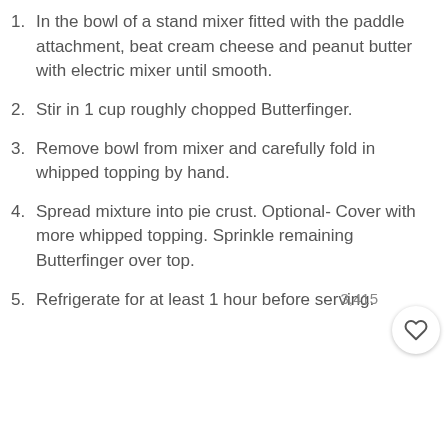In the bowl of a stand mixer fitted with the paddle attachment, beat cream cheese and peanut butter with electric mixer until smooth.
Stir in 1 cup roughly chopped Butterfinger.
Remove bowl from mixer and carefully fold in whipped topping by hand.
Spread mixture into pie crust. Optional- Cover with more whipped topping. Sprinkle remaining Butterfinger over top.
Refrigerate for at least 1 hour before serving.
3,415
Video